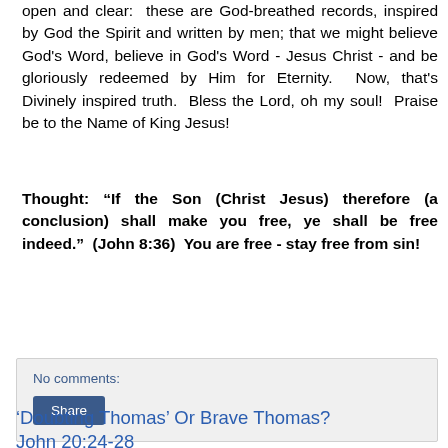open and clear:  these are God-breathed records, inspired by God the Spirit and written by men; that we might believe God's Word, believe in God's Word - Jesus Christ - and be gloriously redeemed by Him for Eternity.  Now, that's Divinely inspired truth.  Bless the Lord, oh my soul!  Praise be to the Name of King Jesus!
Thought: “If the Son (Christ Jesus) therefore (a conclusion) shall make you free, ye shall be free indeed.”  (John 8:36)  You are free - stay free from sin!
No comments:
Share
‘Doubting Thomas’ Or Brave Thomas? John 20:24-28